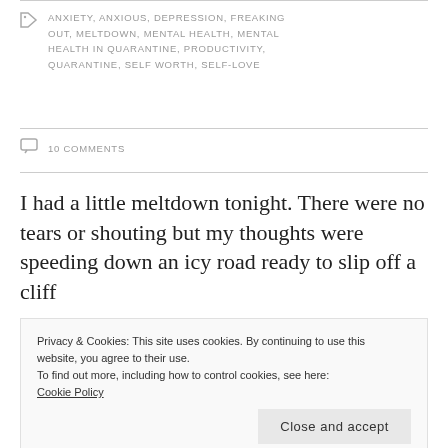ANXIETY, ANXIOUS, DEPRESSION, FREAKING OUT, MELTDOWN, MENTAL HEALTH, MENTAL HEALTH IN QUARANTINE, PRODUCTIVITY, QUARANTINE, SELF WORTH, SELF-LOVE
10 COMMENTS
I had a little meltdown tonight. There were no tears or shouting but my thoughts were speeding down an icy road ready to slip off a cliff...
Privacy & Cookies: This site uses cookies. By continuing to use this website, you agree to their use. To find out more, including how to control cookies, see here: Cookie Policy
Close and accept